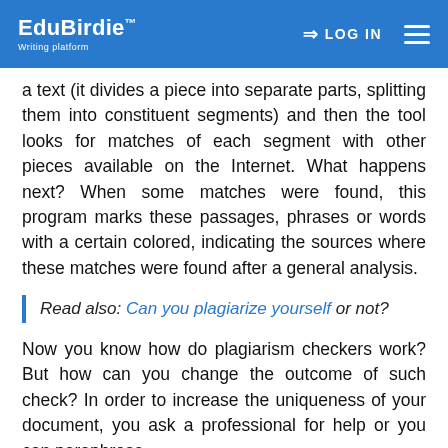EduBirdie™ Writing platform | LOG IN
a text (it divides a piece into separate parts, splitting them into constituent segments) and then the tool looks for matches of each segment with other pieces available on the Internet. What happens next? When some matches were found, this program marks these passages, phrases or words with a certain colored, indicating the sources where these matches were found after a general analysis.
Read also: Can you plagiarize yourself or not?
Now you know how do plagiarism checkers work? But how can you change the outcome of such check? In order to increase the uniqueness of your document, you ask a professional for help or you can paraphrase